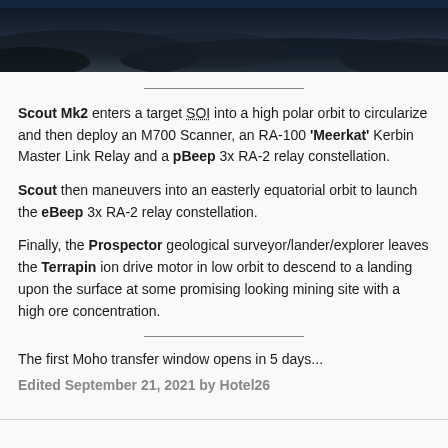[Figure (photo): Dark aerial/space view of a planetary surface from orbit, showing dark terrain with atmospheric haze at top.]
Scout Mk2 enters a target SOI into a high polar orbit to circularize and then deploy an M700 Scanner, an RA-100 'Meerkat' Kerbin Master Link Relay and a pBeep 3x RA-2 relay constellation.
Scout then maneuvers into an easterly equatorial orbit to launch the eBeep 3x RA-2 relay constellation.
Finally, the Prospector geological surveyor/lander/explorer leaves the Terrapin ion drive motor in low orbit to descend to a landing upon the surface at some promising looking mining site with a high ore concentration.
The first Moho transfer window opens in 5 days...
Edited September 21, 2021 by Hotel26